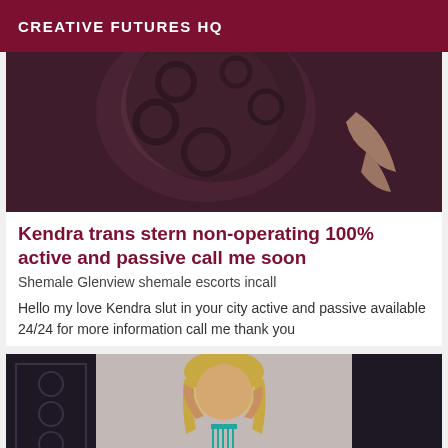CREATIVE FUTURES HQ
[Figure (photo): Dark photo showing a person's head covered with a dark floral lace/mesh fabric, with a hand visible on the right side, brownish-purple tones]
Kendra trans stern non-operating 100% active and passive call me soon
Shemale Glenview shemale escorts incall
Hello my love Kendra slut in your city active and passive available 24/24 for more information call me thank you
[Figure (photo): Photo of a young woman with blonde hair, wearing teal fringe jewelry/top, posing with arms raised near her head against a dark ornate background]